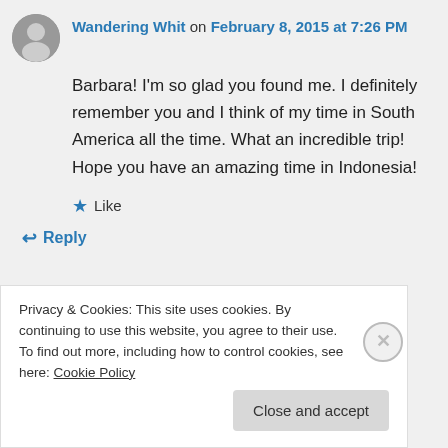Wandering Whit on February 8, 2015 at 7:26 PM
Barbara! I'm so glad you found me. I definitely remember you and I think of my time in South America all the time. What an incredible trip! Hope you have an amazing time in Indonesia!
Like
Reply
Privacy & Cookies: This site uses cookies. By continuing to use this website, you agree to their use.
To find out more, including how to control cookies, see here: Cookie Policy
Close and accept